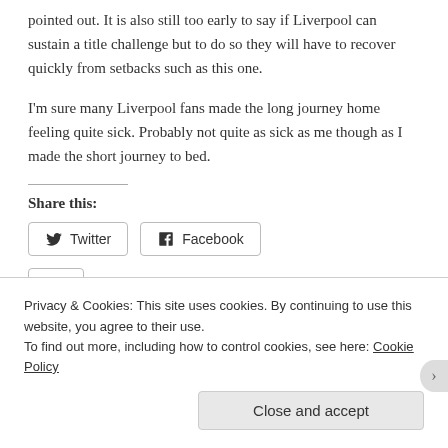pointed out. It is also still too early to say if Liverpool can sustain a title challenge but to do so they will have to recover quickly from setbacks such as this one.
I'm sure many Liverpool fans made the long journey home feeling quite sick. Probably not quite as sick as me though as I made the short journey to bed.
Share this:
[Figure (other): Twitter and Facebook share buttons]
Privacy & Cookies: This site uses cookies. By continuing to use this website, you agree to their use. To find out more, including how to control cookies, see here: Cookie Policy
Close and accept